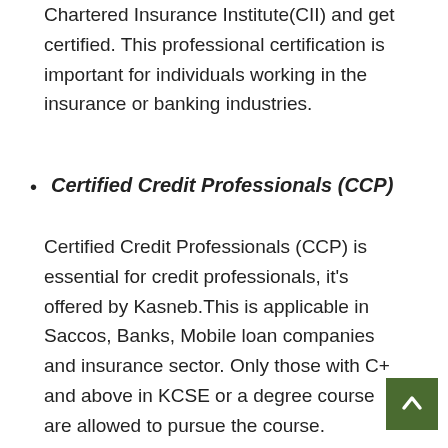Chartered Insurance Institute(CII) and get certified. This professional certification is important for individuals working in the insurance or banking industries.
Certified Credit Professionals (CCP)
Certified Credit Professionals (CCP) is essential for credit professionals, it's offered by Kasneb.This is applicable in Saccos, Banks, Mobile loan companies and insurance sector. Only those with C+ and above in KCSE or a degree course are allowed to pursue the course.